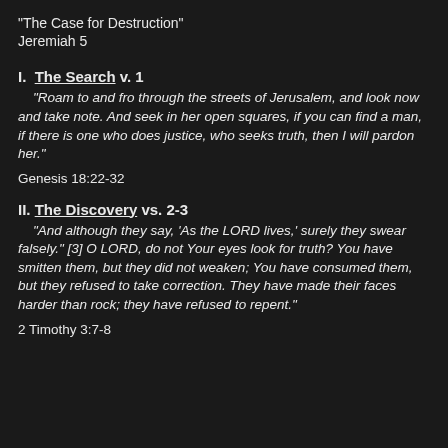“The Case for Destruction”
Jeremiah 5
I.  The Search v. 1
“Roam to and fro through the streets of Jerusalem, and look now and take note. And seek in her open squares, if you can find a man, if there is one who does justice, who seeks truth, then I will pardon her.”
Genesis 18:22-32
II. The Discovery vs. 2-3
“And although they say, ‘As the LORD lives,’ surely they swear falsely.” [3] O LORD, do not Your eyes look for truth? You have smitten them, but they did not weaken; You have consumed them, but they refused to take correction. They have made their faces harder than rock; they have refused to repent.”
2 Timothy 3:7-8